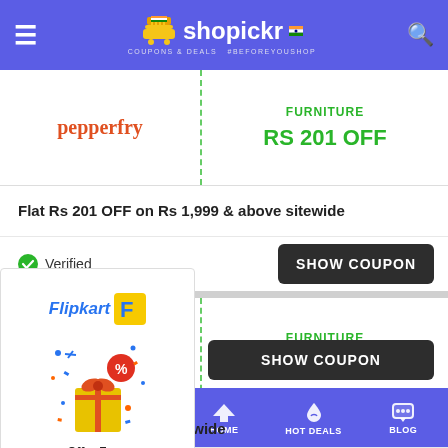shopickr — COUPONS & DEALS #BEFOREYOUSHOP
[Figure (logo): Pepperfry logo in orange text]
FURNITURE
RS 201 OFF
Flat Rs 201 OFF on Rs 1,999 & above sitewide
Verified
SHOW COUPON
[Figure (illustration): Flipkart logo with Offer Zone gift box illustration]
FURNITURE
RS 201 OFF
OFF on 999 & above sitewide
Verified
Ends on 31 Aug 2022
SHOW COUPON
STORES  CATEGORIES  HOME  HOT DEALS  BLOG